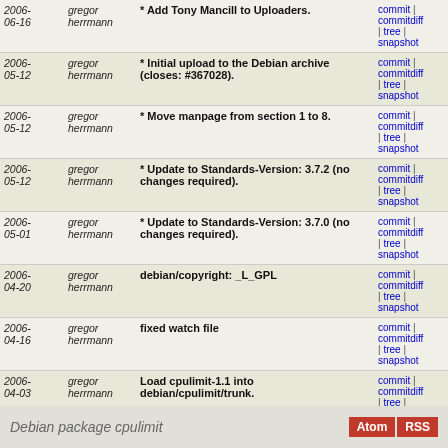| Date | Author | Message | Links |
| --- | --- | --- | --- |
| 2006-06-16 | gregor herrmann | * Add Tony Mancill to Uploaders. | commit | commitdiff | tree | snapshot |
| 2006-05-12 | gregor herrmann | * Initial upload to the Debian archive (closes: #367028). | commit | commitdiff | tree | snapshot |
| 2006-05-12 | gregor herrmann | * Move manpage from section 1 to 8. | commit | commitdiff | tree | snapshot |
| 2006-05-12 | gregor herrmann | * Update to Standards-Version: 3.7.2 (no changes required). | commit | commitdiff | tree | snapshot |
| 2006-05-01 | gregor herrmann | * Update to Standards-Version: 3.7.0 (no changes required). | commit | commitdiff | tree | snapshot |
| 2006-04-20 | gregor herrmann | debian/copyright: _L_GPL | commit | commitdiff | tree | snapshot |
| 2006-04-16 | gregor herrmann | fixed watch file | commit | commitdiff | tree | snapshot |
| 2006-04-03 | gregor herrmann | Load cpulimit-1.1 into debian/cpulimit/trunk. | commit | commitdiff | tree | snapshot |
| 2006-04-03 | gregor herrmann | [svn-inject] Installing original source of cpulimit upstream/1.1 | commit | commitdiff | tree | snapshot |
Debian package cpulimit